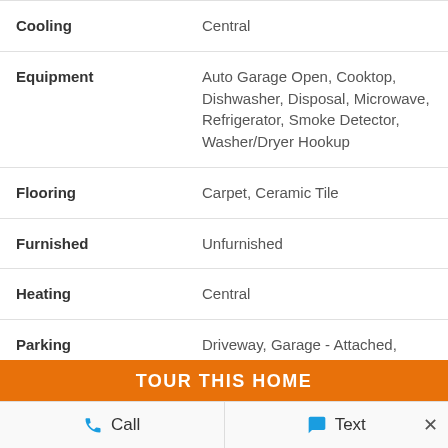| Property | Value |
| --- | --- |
| Cooling | Central |
| Equipment | Auto Garage Open, Cooktop, Dishwasher, Disposal, Microwave, Refrigerator, Smoke Detector, Washer/Dryer Hookup |
| Flooring | Carpet, Ceramic Tile |
| Furnished | Unfurnished |
| Heating | Central |
| Parking | Driveway, Garage - Attached, Street |
TOUR THIS HOME
Call  Text  ×